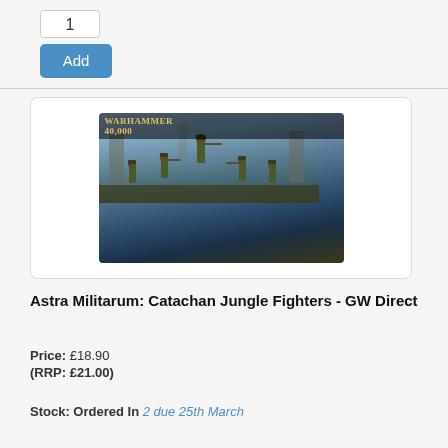1
Add
[Figure (photo): Warhammer 40000 Astra Militarum: Catachan Jungle Fighters product box art showing soldiers in military uniform with weapons against a sci-fi battlefield background]
Astra Militarum: Catachan Jungle Fighters - GW Direct
Price: £18.90
(RRP: £21.00)
Stock: Ordered In 2 due 25th March